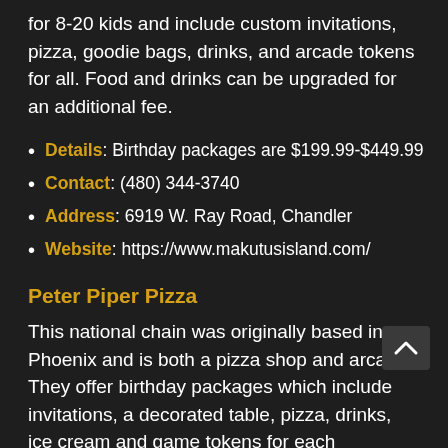for 8-20 kids and include custom invitations, pizza, goodie bags, drinks, and arcade tokens for all. Food and drinks can be upgraded for an additional fee.
Details: Birthday packages are $199.99-$449.99
Contact: (480) 344-3740
Address: 6919 W. Ray Road, Chandler
Website: https://www.makutusisland.com/
Peter Piper Pizza
This national chain was originally based in Phoenix and is both a pizza shop and arcade. They offer birthday packages which include invitations, a decorated table, pizza, drinks, ice cream and game tokens for each